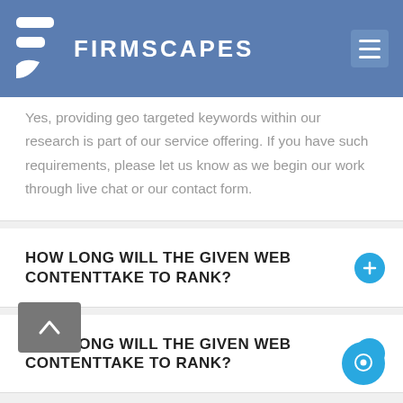FIRMSCAPES
Yes, providing geo targeted keywords within our research is part of our service offering. If you have such requirements, please let us know as we begin our work through live chat or our contact form.
HOW LONG WILL THE GIVEN WEB CONTENTTAKE TO RANK?
HOW LONG WILL THE GIVEN WEB CONTENTTAKE TO RANK?